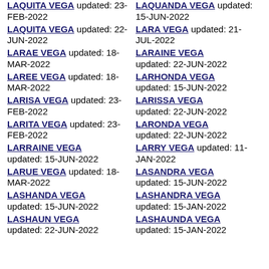LAQUITA VEGA updated: 23-FEB-2022
LAQUANDA VEGA updated: 15-JUN-2022
LAQUITA VEGA updated: 22-JUN-2022
LARA VEGA updated: 21-JUL-2022
LARAE VEGA updated: 18-MAR-2022
LARAINE VEGA updated: 22-JUN-2022
LAREE VEGA updated: 18-MAR-2022
LARHONDA VEGA updated: 15-JUN-2022
LARISA VEGA updated: 23-FEB-2022
LARISSA VEGA updated: 22-JUN-2022
LARITA VEGA updated: 23-FEB-2022
LARONDA VEGA updated: 22-JUN-2022
LARRAINE VEGA updated: 15-JUN-2022
LARRY VEGA updated: 11-JAN-2022
LARUE VEGA updated: 18-MAR-2022
LASANDRA VEGA updated: 15-JUN-2022
LASHANDA VEGA updated: 15-JUN-2022
LASHANDRA VEGA updated: 15-JAN-2022
LASHAUN VEGA updated: 22-JUN-2022
LASHAUNDA VEGA updated: 15-JAN-2022